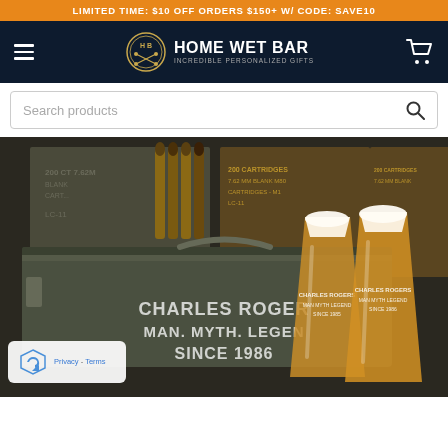LIMITED TIME: $10 OFF ORDERS $150+ W/ CODE: SAVE10
[Figure (logo): Home Wet Bar logo with circular badge containing H B initials and crossbones, text HOME WET BAR INCREDIBLE PERSONALIZED GIFTS on dark navy background with hamburger menu and cart icon]
Search products
[Figure (photo): Product photo showing a military-style olive green ammo can personalized with CHARLES ROGERS MAN. MYTH. LEGEND. SINCE 1986 engraving, alongside two matching engraved pint beer glasses filled with amber beer, set against a backdrop of ammunition boxes and bullet casings]